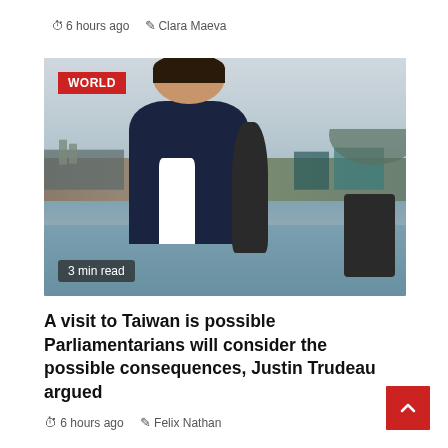6 hours ago  Clara Maeva
[Figure (photo): Photo of Justin Trudeau speaking at a waterfront location with a microphone, wearing a dark blazer and white shirt. A 'WORLD' badge is in the top-left corner and '3 min read' label is in the bottom-left.]
A visit to Taiwan is possible Parliamentarians will consider the possible consequences, Justin Trudeau argued
6 hours ago  Felix Nathan